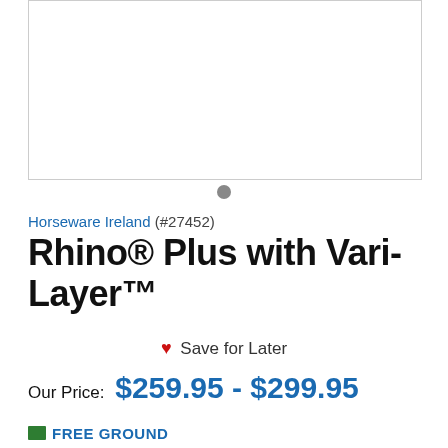[Figure (photo): Product image placeholder with light grey border, white background, empty product photo area]
Horseware Ireland (#27452)
Rhino® Plus with Vari-Layer™
❤ Save for Later
Our Price: $259.95 - $299.95
FREE GROUND